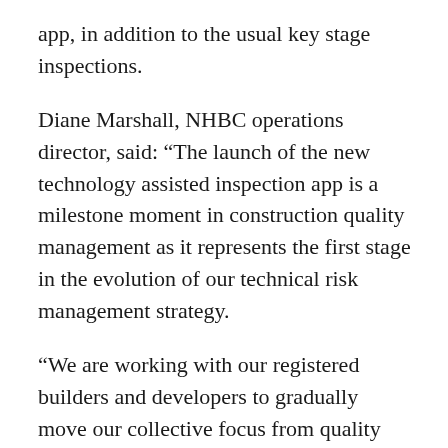app, in addition to the usual key stage inspections.
Diane Marshall, NHBC operations director, said: “The launch of the new technology assisted inspection app is a milestone moment in construction quality management as it represents the first stage in the evolution of our technical risk management strategy.
“We are working with our registered builders and developers to gradually move our collective focus from quality control (defects correction) to quality assurance (defects prevention).
“The new app will enable our registered builders and developers to work more efficiently on site, reduce the significant costs of remedial works and further improve new home quality for the benefit of home